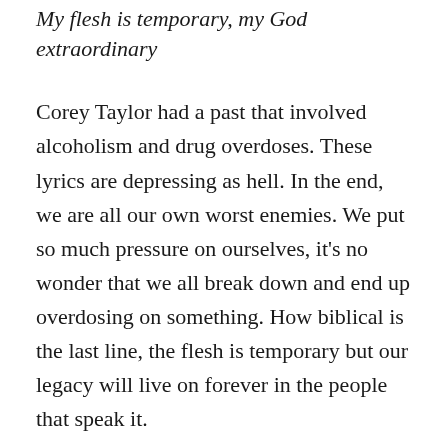My flesh is temporary, my God extraordinary
Corey Taylor had a past that involved alcoholism and drug overdoses. These lyrics are depressing as hell. In the end, we are all our own worst enemies. We put so much pressure on ourselves, it's no wonder that we all break down and end up overdosing on something. How biblical is the last line, the flesh is temporary but our legacy will live on forever in the people that speak it.
Caustic Are The Ties That Bind
By Trivium, from In Waves (2011)